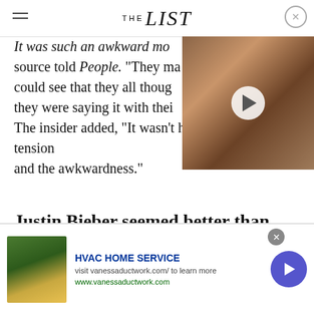THE list
It was such an awkward mo source told People. "They ma could see that they all thoug they were saying it with thei The insider added, "It wasn't hard to see the tension and the awkwardness."
[Figure (photo): Video thumbnail showing a woman with brown hair smiling, with a play button overlay]
Justin Bieber seemed better than ever
[Figure (photo): Advertisement image showing hands gardening with yellow flowers]
HVAC HOME SERVICE
visit vanessaductwork.com/ to learn more
www.vanessaductwork.com